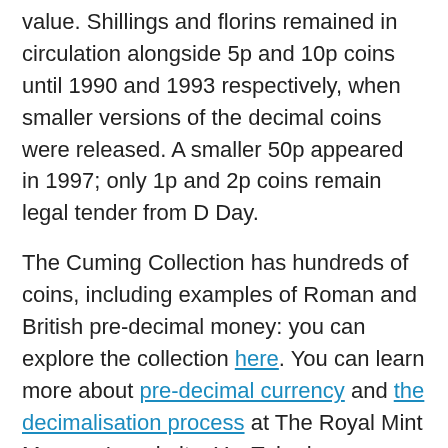value. Shillings and florins remained in circulation alongside 5p and 10p coins until 1990 and 1993 respectively, when smaller versions of the decimal coins were released. A smaller 50p appeared in 1997; only 1p and 2p coins remain legal tender from D Day.
The Cuming Collection has hundreds of coins, including examples of Roman and British pre-decimal money: you can explore the collection here. You can learn more about pre-decimal currency and the decimalisation process at The Royal Mint Museum's website. YouTube has examples of public information films, reporting on D Day from the AP, and an extract of Granny Gets the Point from the BFI's collection.